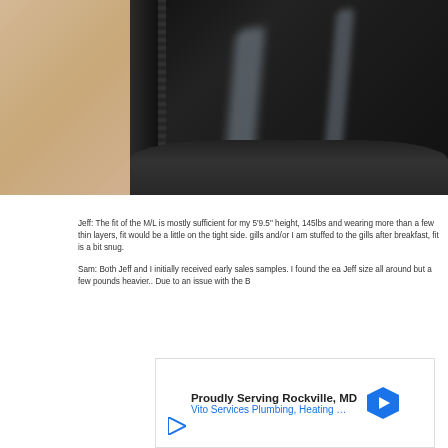[Figure (photo): Close-up photo of dark black fabric/material showing a shiny surface with reflective highlights and a folded ridge at the bottom, with wooden background visible on the left side]
Jeff: The fit of the M/L is mostly sufficient for my 5'9.5" height, 145lbs and wearing more than a few thin layers, fit would be a little on the tight side. gills and/or I am stuffed to the gills after breakfast, fit is a bit snug.
Sam: Both Jeff and I initially received early sales samples. I found the ea Jeff size all around but a few pounds heavier.. Due to an issue with the B
[Figure (other): Advertisement: Proudly Serving Rockville, MD - Vito Services Plumbing, Heating … with a blue navigation arrow icon and a play button icon]